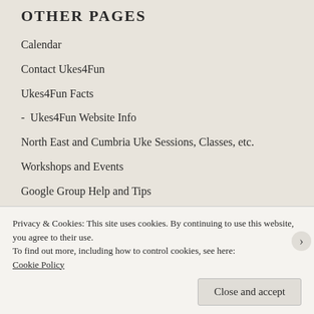OTHER PAGES
Calendar
Contact Ukes4Fun
Ukes4Fun Facts
-  Ukes4Fun Website Info
North East and Cumbria Uke Sessions, Classes, etc.
Workshops and Events
Google Group Help and Tips
WORKSHOPS & EVENTS, NEWS
Privacy & Cookies: This site uses cookies. By continuing to use this website, you agree to their use.
To find out more, including how to control cookies, see here: Cookie Policy
Close and accept